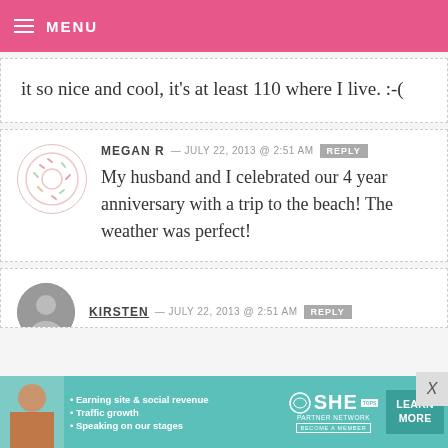MENU
it so nice and cool, it's at least 110 where I live. :-(
MEGAN R — JULY 22, 2013 @ 2:51 AM REPLY
My husband and I celebrated our 4 year anniversary with a trip to the beach! The weather was perfect!
KIRSTEN — JULY 22, 2013 @ 2:51 AM REPLY
[Figure (infographic): SHE Partner Network advertisement banner with a woman's photo, bullet points about earning site & social revenue, traffic growth, speaking on our stages, logo, LEARN MORE button]